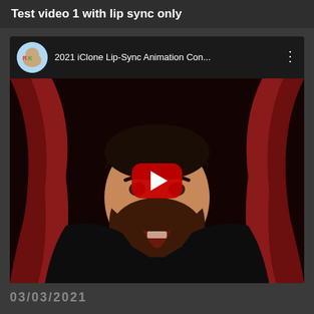Test video 1 with lip sync only
[Figure (screenshot): YouTube video thumbnail showing a 3D animated male character with beard wearing a tuxedo with white bow tie, in front of red curtains. Video title reads '2021 iClone Lip-Sync Animation Con...' with a channel avatar and YouTube play button overlay.]
03/03/2021